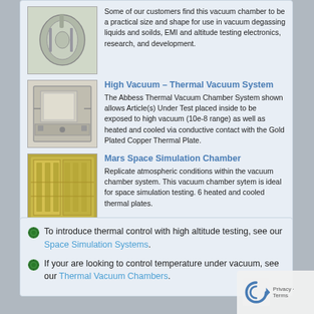Some of our customers find this vacuum chamber to be a practical size and shape for use in vacuum degassing liquids and soilds, EMI and altitude testing electronics, research, and development.
[Figure (photo): Photo of a cylindrical vacuum chamber, metallic silver, viewed from an angle.]
High Vacuum – Thermal Vacuum System
The Abbess Thermal Vacuum Chamber System shown allows Article(s) Under Test placed inside to be exposed to high vacuum (10e-8 range) as well as heated and cooled via conductive contact with the Gold Plated Copper Thermal Plate.
[Figure (photo): Photo of a thermal vacuum chamber system with visible frame and window.]
Mars Space Simulation Chamber
Replicate atmospheric conditions within the vacuum chamber system. This vacuum chamber sytem is ideal for space simulation testing. 6 heated and cooled thermal plates.
[Figure (photo): Photo of a large gold-colored Mars Space Simulation Chamber interior.]
To introduce thermal control with high altitude testing, see our Space Simulation Systems.
If your are looking to control temperature under vacuum, see our Thermal Vacuum Chambers.